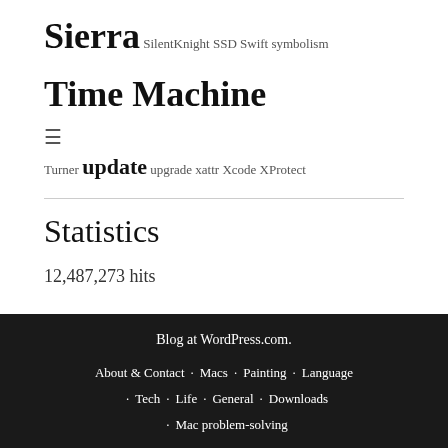Sierra SilentKnight SSD Swift symbolism Time Machine
≡
Turner update upgrade xattr Xcode XProtect
Statistics
12,487,273 hits
Blog at WordPress.com. About & Contact · Macs · Painting · Language · Tech · Life · General · Downloads · Mac problem-solving